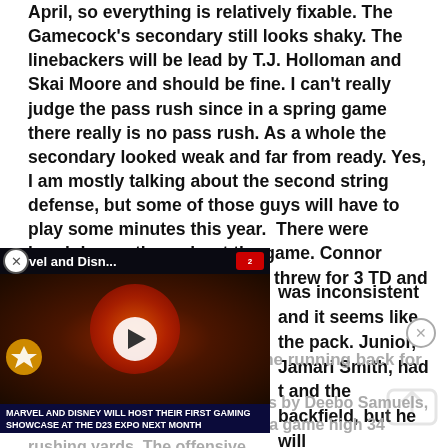April, so everything is relatively fixable. The Gamecock's secondary still looks shaky. The linebackers will be lead by T.J. Holloman and Skai Moore and should be fine. I can't really judge the pass rush since in a spring game there really is no pass rush. As a whole the secondary looked weak and far from ready. Yes, I am mostly talking about the second string defense, but some of those guys will have to play some minutes this year.  There were breakdowns throughout the game. Connor Mitch and Brandon McIllwain threw for 3 TD and over
[Figure (screenshot): Video player overlay showing 'Marvel and Disn...' title with a thumbnail of armored characters in front of a large glowing orb, play button in center, and banner text 'MARVEL AND DISNEY WILL HOST THEIR FIRST GAMING SHOWCASE AT THE D23 EXPO NEXT MONTH']
was inconsistent and it seems like the pack. Junior, Jamari Smith, had t and the backfield, but he will
probably not be the starting the running back for the Gamecocks.
The longest run of the game was by Deebo Samuels, a wide r Junior, Rod Talley, had a game high 34 rushing yards. The offensive